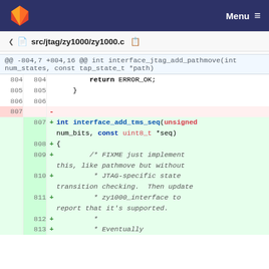Menu
src/jtag/zy1000/zy1000.c
[Figure (screenshot): Git diff view showing code changes to src/jtag/zy1000/zy1000.c. Lines 804-806 are context (return ERROR_OK; } and blank line). Line 807 is deleted (blank). Lines 807-813 are added: int interface_add_tms_seq(unsigned num_bits, const uint8_t *seq) { /* FIXME just implement this, like pathmove but without * JTAG-specific state transition checking. Then update * zy1000_interface to report that it's supported. * * Eventually]